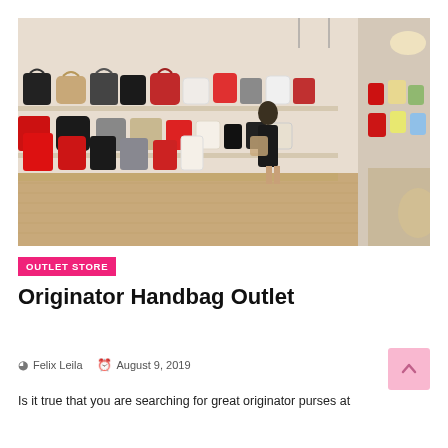[Figure (photo): Interior of a handbag retail store with shelves displaying numerous handbags of various colors (black, red, beige, white) along the walls. A woman in a black dress is visible browsing in the store. Parquet wood flooring and warm lighting.]
OUTLET STORE
Originator Handbag Outlet
Felix Leila   August 9, 2019
Is it true that you are searching for great originator purses at